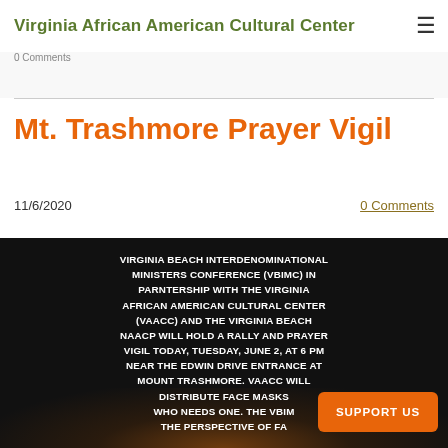Virginia African American Cultural Center
Mt. Trashmore Prayer Vigil
11/6/2020
0 Comments
[Figure (photo): Dark flyer image with white bold text on black background with candle bokeh lights. Text reads: VIRGINIA BEACH INTERDENOMINATIONAL MINISTERS CONFERENCE (VBIMC) IN PARNTERSHIP WITH THE VIRGINIA AFRICAN AMERICAN CULTURAL CENTER (VAACC) AND THE VIRGINIA BEACH NAACP WILL HOLD A RALLY AND PRAYER VIGIL TODAY, TUESDAY, JUNE 2, AT 6 PM NEAR THE EDWIN DRIVE ENTRANCE AT MOUNT TRASHMORE. VAACC WILL DISTRIBUTE FACE MASKS [TO ANYONE] WHO NEEDS ONE. THE VBIM[C WILL SHARE] THE PERSPECTIVE OF FA[ITH...]]
SUPPORT US